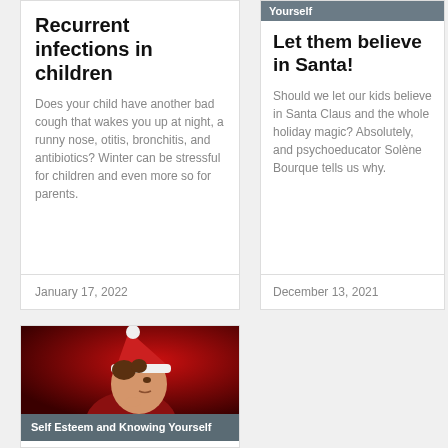Recurrent infections in children
Does your child have another bad cough that wakes you up at night, a runny nose, otitis, bronchitis, and antibiotics? Winter can be stressful for children and even more so for parents.
January 17, 2022
Yourself
Let them believe in Santa!
Should we let our kids believe in Santa Claus and the whole holiday magic? Absolutely, and psychoeducator Solène Bourque tells us why.
December 13, 2021
[Figure (photo): Child wearing a Santa hat with hand on chin, thinking, against a red background]
Self Esteem and Knowing Yourself